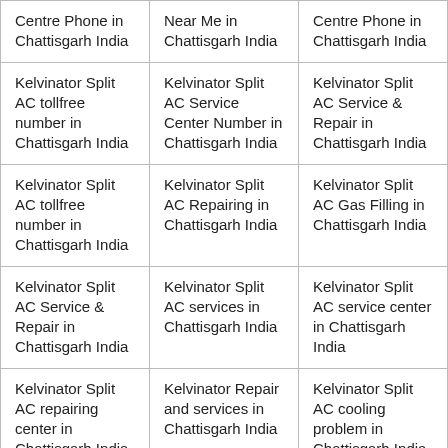| Centre Phone in Chattisgarh India | Near Me in Chattisgarh India | Centre Phone in Chattisgarh India |
| Kelvinator Split AC tollfree number in Chattisgarh India | Kelvinator Split AC Service Center Number in Chattisgarh India | Kelvinator Split AC Service & Repair in Chattisgarh India |
| Kelvinator Split AC tollfree number in Chattisgarh India | Kelvinator Split AC Repairing in Chattisgarh India | Kelvinator Split AC Gas Filling in Chattisgarh India |
| Kelvinator Split AC Service & Repair in Chattisgarh India | Kelvinator Split AC services in Chattisgarh India | Kelvinator Split AC service center in Chattisgarh India |
| Kelvinator Split AC repairing center in Chattisgarh India | Kelvinator Repair and services in Chattisgarh India | Kelvinator Split AC cooling problem in Chattisgarh India |